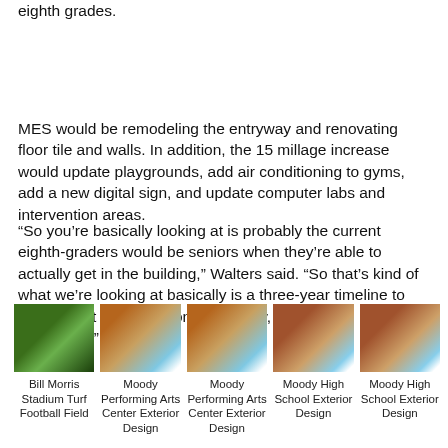eighth grades.
MES would be remodeling the entryway and renovating floor tile and walls. In addition, the 15 millage increase would update playgrounds, add air conditioning to gyms, add a new digital sign, and update computer labs and intervention areas.
“So you’re basically looking at is probably the current eighth-graders would be seniors when they’re able to actually get in the building,” Walters said. “So that’s kind of what we’re looking at basically is a three-year timeline to actually get our hands on the money, to when it’s completed.”
[Figure (photo): Aerial view of Bill Morris Stadium Turf Football Field]
Bill Morris Stadium Turf Football Field
[Figure (photo): Exterior design rendering of Moody Performing Arts Center]
Moody Performing Arts Center Exterior Design
[Figure (photo): Exterior design rendering of Moody Performing Arts Center]
Moody Performing Arts Center Exterior Design
[Figure (photo): Exterior design rendering of Moody High School]
Moody High School Exterior Design
[Figure (photo): Exterior design rendering of Moody High School]
Moody High School Exterior Design